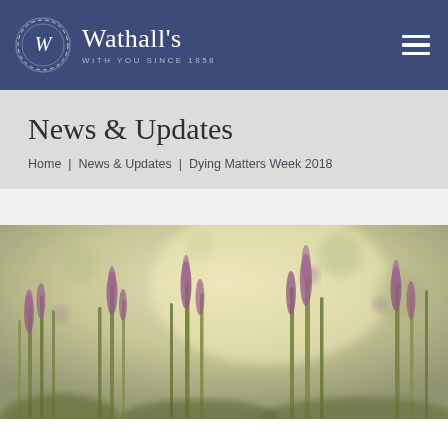Wathall's — WITH YOU SINCE 1858
News & Updates
Home | News & Updates | Dying Matters Week 2018
[Figure (photo): Blurred outdoor photograph of wildflowers and purple blooms in a field, soft warm tones with shallow depth of field.]